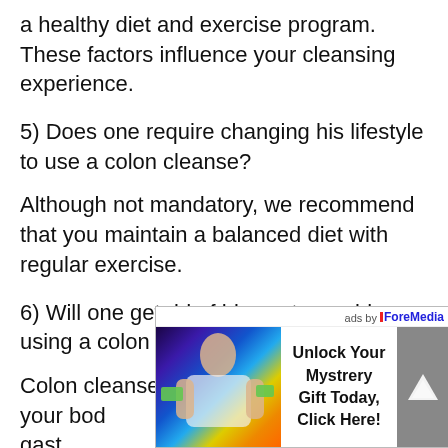a healthy diet and exercise program. These factors influence your cleansing experience.
5) Does one require changing his lifestyle to use a colon cleanse?
Although not mandatory, we recommend that you maintain a balanced diet with regular exercise.
6) Will one get rid of his gastro problems using a colon cleanse?
Colon cleanse is only made to support your body... gastro... cond... phy...
[Figure (photo): Advertisement overlay with a woman holding cash at a casino, alongside text 'Unlock Your Mystrery Gift Today, Click Here!' and 'ads by ForeMedia' label, with a grey arrow button on the right.]